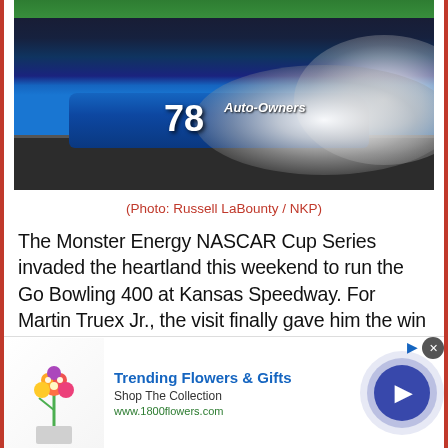[Figure (photo): NASCAR No. 78 Auto-Owners blue Toyota doing a burnout on the track, large white smoke cloud billowing from rear tires, green grass strip at top of image]
(Photo: Russell LaBounty / NKP)
The Monster Energy NASCAR Cup Series invaded the heartland this weekend to run the Go Bowling 400 at Kansas Speedway. For Martin Truex Jr., the visit finally gave him the win that had so mercilessly eluded the driver of the No. 78 Furniture Row Racing Toyota team the prior two years. Truex tore through the
[Figure (other): Advertisement banner: Trending Flowers & Gifts, Shop The Collection, www.1800flowers.com, with flower image on left and blue circular arrow button on right]